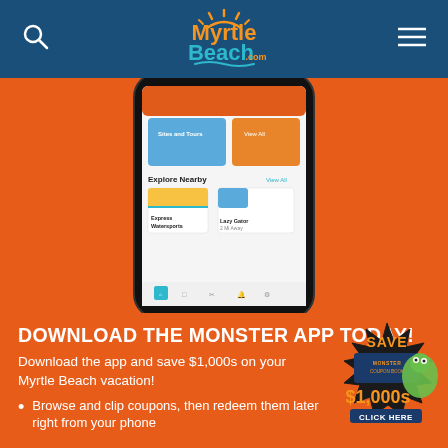Myrtle Beach .com
[Figure (screenshot): Smartphone showing the Myrtle Beach app with 'Explore Nearby' section featuring Express Watersports and Lazy Gator listings on an orange background]
DOWNLOAD THE MONSTER APP TODAY!
Download the app and save $1,000s on your Myrtle Beach vacation!
[Figure (logo): Monster Coupon Book badge with green monster character saying SAVE $1,000s CLICK HERE]
Browse and clip coupons, then redeem them later right from your phone